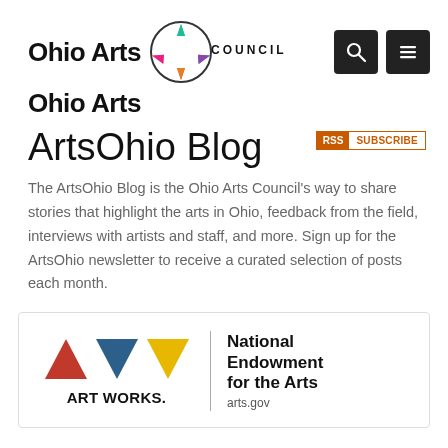[Figure (logo): Ohio Arts Council logo with colorful pinwheel icon and bold text 'Ohio Arts Council']
[Figure (logo): Search icon (magnifying glass) and hamburger menu icon, both in dark square buttons]
[Figure (logo): RSS Subscribe badge with orange RSS label]
ArtsOhio Blog
The ArtsOhio Blog is the Ohio Arts Council's way to share stories that highlight the arts in Ohio, feedback from the field, interviews with artists and staff, and more. Sign up for the ArtsOhio newsletter to receive a curated selection of posts each month.
[Figure (logo): National Endowment for the Arts logo with ART WORKS triangles and arts.gov URL]